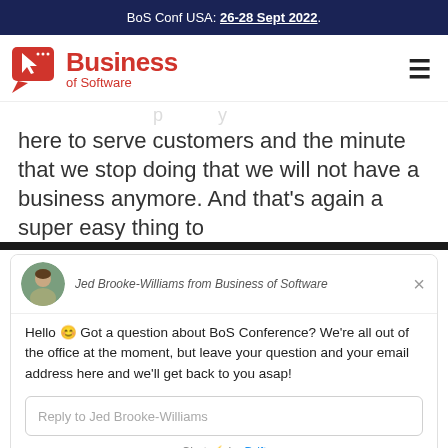BoS Conf USA: 26-28 Sept 2022.
[Figure (logo): Business of Software logo with red cursor/speech-bubble icon and red text]
here to serve customers and the minute that we stop doing that we will not have a business anymore. And that's again a super easy thing to
Jed Brooke-Williams from Business of Software
Hello 😊 Got a question about BoS Conference? We're all out of the office at the moment, but leave your question and your email address here and we'll get back to you asap!
Reply to Jed Brooke-Williams
Chat ⚡ by Drift